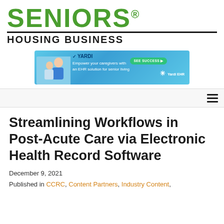SENIORS HOUSING BUSINESS
[Figure (screenshot): Yardi EHR advertisement banner: 'Empower your caregivers with an EHR solution for senior living' with a green 'SEE SUCCESS' button and Yardi EHR logo, featuring an image of a caregiver with a senior.]
Streamlining Workflows in Post-Acute Care via Electronic Health Record Software
December 9, 2021
Published in CCRC, Content Partners, Industry Content,